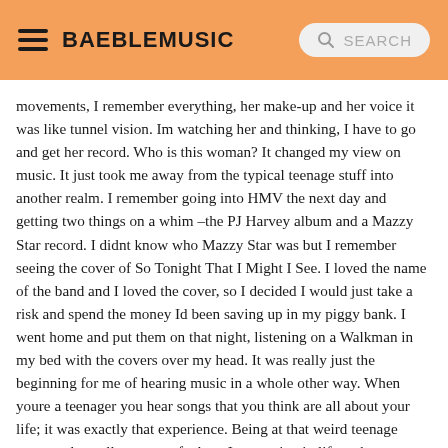BAEBLEMUSIC SEARCH
movements, I remember everything, her make-up and her voice it was like tunnel vision. Im watching her and thinking, I have to go and get her record. Who is this woman? It changed my view on music. It just took me away from the typical teenage stuff into another realm. I remember going into HMV the next day and getting two things on a whim –the PJ Harvey album and a Mazzy Star record. I didnt know who Mazzy Star was but I remember seeing the cover of So Tonight That I Might I See. I loved the name of the band and I loved the cover, so I decided I would just take a risk and spend the money Id been saving up in my piggy bank. I went home and put them on that night, listening on a Walkman in my bed with the covers over my head. It was really just the beginning for me of hearing music in a whole other way. When youre a teenager you hear songs that you think are all about your life; it was exactly that experience. Being at that weird teenage crossroads, really unsure of where I was going in life -- those two albums made me feel okay.
That same year, Elson was spotted by a Boss modeling scout and